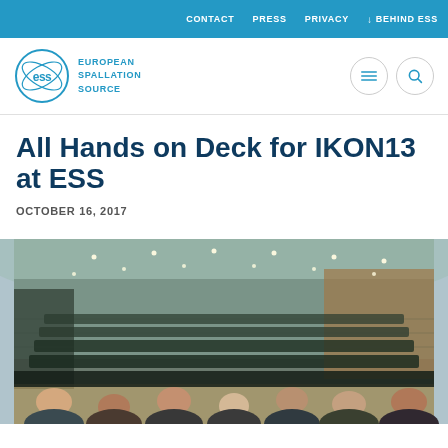CONTACT   PRESS   PRIVACY   ↓ BEHIND ESS
[Figure (logo): ESS European Spallation Source logo — circular with 'ess' text and two orbital arcs, beside text 'EUROPEAN SPALLATION SOURCE']
All Hands on Deck for IKON13 at ESS
OCTOBER 16, 2017
[Figure (photo): A large auditorium filled with a crowd of attendees seated in rows, facing a stage/screen. The room has curved ceiling with recessed lights, wooden side walls, and teal/grey wall panels. Audience members are visible from mid-distance to the foreground.]